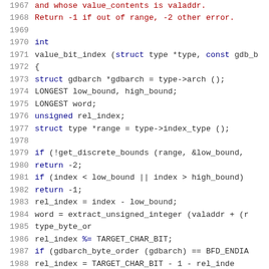[Figure (screenshot): Source code listing in C showing lines 1967-1988 of a GDB source file, with syntax highlighting. Line numbers in grey on the left, keywords in dark blue, comments in dark red, and regular code in dark text on white background.]